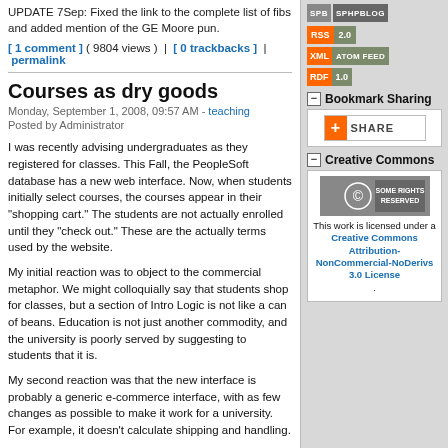UPDATE 7Sep: Fixed the link to the complete list of fibs and added mention of the GE Moore pun.
[ 1 comment ] ( 9804 views )  |  [ 0 trackbacks ]  |  permalink
Courses as dry goods
Monday, September 1, 2008, 09:57 AM - teaching
Posted by Administrator
I was recently advising undergraduates as they registered for classes. This Fall, the PeopleSoft database has a new web interface. Now, when students initially select courses, the courses appear in their "shopping cart." The students are not actually enrolled until they "check out." These are the actually terms used by the website.
My initial reaction was to object to the commercial metaphor. We might colloquially say that students shop for classes, but a section of Intro Logic is not like a can of beans. Education is not just another commodity, and the university is poorly served by suggesting to students that it is.
My second reaction was that the new interface is probably a generic e-commerce interface, with as few changes as possible to make it work for a university. For example, it doesn't calculate shipping and handling.
My third reaction, however, is a kind of grudging approval. What else would you call the part of the interface where students have selected a list of courses but have not yet actually taken up one of the seats? "Shopping cart" does that in two words, telling students at once that the listed items have been selected and that the choice has not been finalized. I am not sure what else I would have called it.
[Figure (logo): SPB SPHPBLOG badge]
[Figure (logo): RSS 2.0 feed badge]
[Figure (logo): XML ATOM FEED badge]
[Figure (logo): RDF 1.0 feed badge]
Bookmark Sharing
[Figure (logo): SHARE button]
Creative Commons
[Figure (logo): Creative Commons Some Rights Reserved badge]
This work is licensed under a Creative Commons Attribution-NonCommercial-NoDerivs 3.0 License.